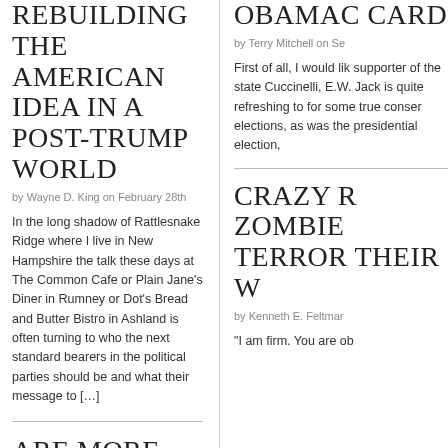REBUILDING THE AMERICAN IDEA IN A POST-TRUMP WORLD
by Wayne D. King on February 28th
In the long shadow of Rattlesnake Ridge where I live in New Hampshire the talk these days at The Common Cafe or Plain Jane's Diner in Rumney or Dot's Bread and Butter Bistro in Ashland is often turning to who the next standard bearers in the political parties should be and what their message to […]
ARE MORE TEA PARTIES IN AMERICA'S FUTURE?
OBAMAC CARD
by Terry Mitchell on Se
First of all, I would lik supporter of the state Cuccinelli, E.W. Jack is quite refreshing to for some true conser elections, as was the presidential election,
CRAZY R ZOMBIE TERROR THEIR W
by Kenneth E. Feltmar
"I am firm. You are ob